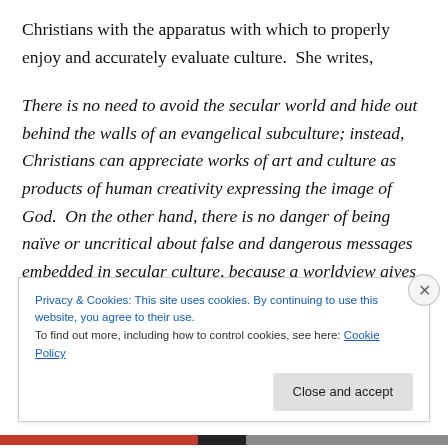Christians with the apparatus with which to properly enjoy and accurately evaluate culture.  She writes,
There is no need to avoid the secular world and hide out behind the walls of an evangelical subculture; instead, Christians can appreciate works of art and culture as products of human creativity expressing the image of God.  On the other hand, there is no danger of being naïve or uncritical about false and dangerous messages embedded in secular culture, because a worldview gives the conceptual tools needed to analyze and critique them
Privacy & Cookies: This site uses cookies. By continuing to use this website, you agree to their use. To find out more, including how to control cookies, see here: Cookie Policy
Close and accept